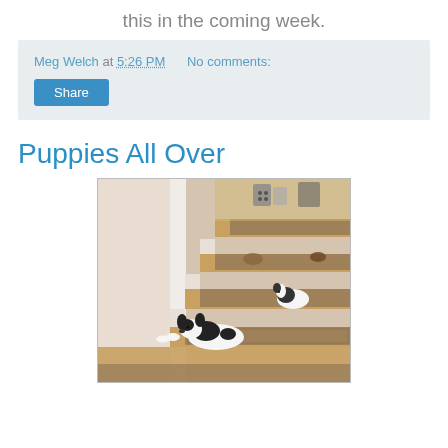this in the coming week.
Meg Welch at 5:26 PM   No comments:
Share
Puppies All Over
[Figure (photo): Photo of puppies on wooden stairs with patterned carpet stair treads. A black and white puppy rests on a lower step, and more puppies are visible on upper steps.]